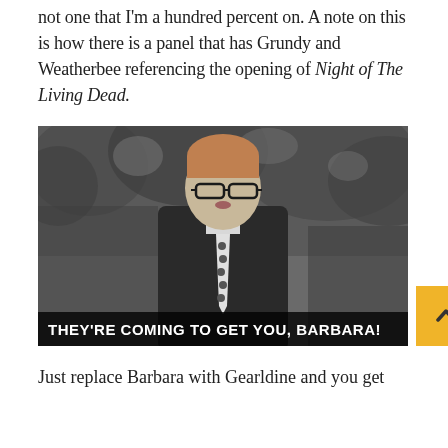not one that I'm a hundred percent on. A note on this is how there is a panel that has Grundy and Weatherbee referencing the opening of Night of The Living Dead.
[Figure (photo): Black and white still from Night of the Living Dead showing a young man in glasses, suit and polka-dot tie, standing outdoors with trees in background. Subtitle text reads: THEY'RE COMING TO GET YOU, BARBARA!]
Just replace Barbara with Gearldine and you get